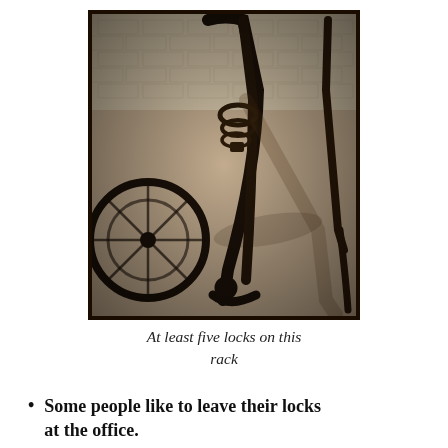[Figure (photo): A sepia-toned overhead photo showing a bicycle rack with multiple bikes and at least five locks visible, against a concrete floor and brick wall background.]
At least five locks on this rack
Some people like to leave their locks at the office.